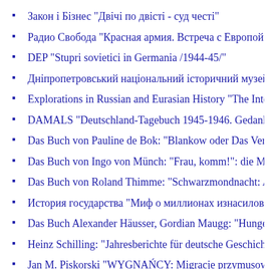Закон і Бізнес "Двічі по двісті - суд честі"
Радио Свобода "Красная армия. Встреча с Европой"
DEP "Stupri sovietici in Germania /1944-45/"
Дніпропетровський національний історичний музей ім. Яв
Explorations in Russian and Eurasian History "The Intelligents
DAMALS "Deutschland-Tagebuch 1945-1946. Gedankenwelt
Das Buch von Pauline de Bok: "Blankow oder Das Verlangen n
Das Buch von Ingo von Münch: "Frau, komm!": die Massenve
Das Buch von Roland Thimme: "Schwarzmondnacht: Authenti
История государства  "Миф о миллионах изнасилованных
Das Buch Alexander Häusser, Gordian Maugg: "Hungerwinter
Heinz Schilling: "Jahresberichte für deutsche Geschichte: Neue
Jan M. Piskorski "WYGNAŃCY: Migracje przymusowe i ucho